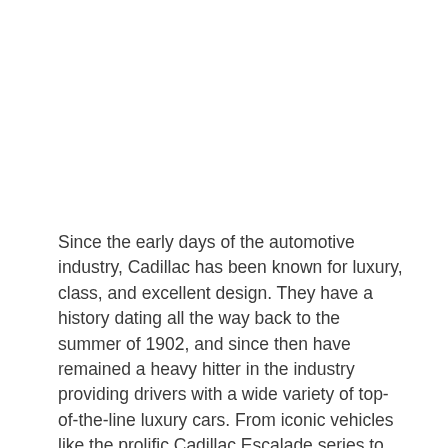Since the early days of the automotive industry, Cadillac has been known for luxury, class, and excellent design. They have a history dating all the way back to the summer of 1902, and since then have remained a heavy hitter in the industry providing drivers with a wide variety of top-of-the-line luxury cars. From iconic vehicles like the prolific Cadillac Escalade series to vintage classics like the Supercharged 1953 Eldorado, the Cadillac brand has been successful in creating vehicles that are second to none. Cadillac has earned a reputation for the quality of their rides, establishing a driving experience that is intended to make drivers feel at the helm of a vehicle designed for pure elegance. In this post, we'll cover some of the top 10 best Cadillacs